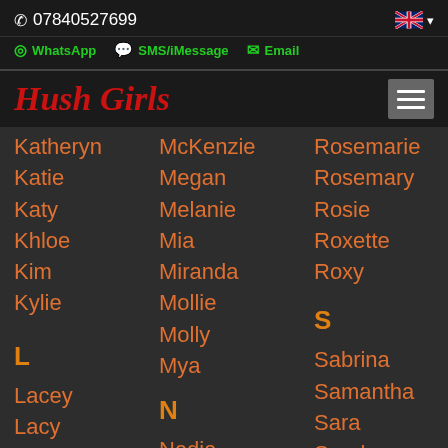07840527699
WhatsApp  SMS/iMessage  Email
Hush Girls
Katheryn
Katie
Katy
Khloe
Kim
Kylie
L
Lacey
Lacy
Laura
McKenzie
Megan
Melanie
Mia
Miranda
Mollie
Molly
Mya
N
Nadia
Rosemarie
Rosemary
Rosie
Roxette
Roxy
S
Sabrina
Samantha
Sara
Sarah